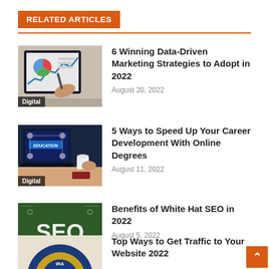RELATED ARTICLES
[Figure (photo): Hand pointing at a tablet showing pie chart and line graph - Digital marketing analytics]
6 Winning Data-Driven Marketing Strategies to Adopt in 2022
August 20, 2022
[Figure (photo): Laptop screen showing education icons and concept map - Digital education]
5 Ways to Speed Up Your Career Development With Online Degrees
August 11, 2022
[Figure (photo): Chalkboard with SEO - Search Engine Optimization text - Digital]
Benefits of White Hat SEO in 2022
August 5, 2022
[Figure (photo): Circular logo partially visible at bottom left]
Top Ways to Get Traffic to Your Website 2022